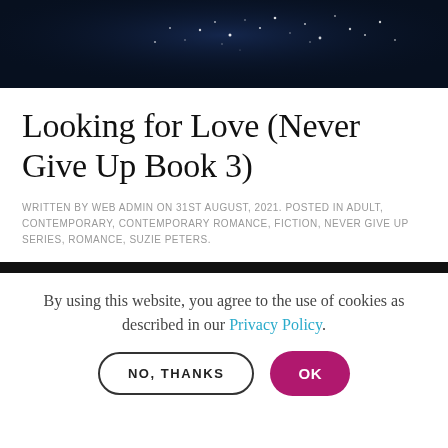[Figure (photo): Dark navy blue ocean/water surface with sparkles of light, cropped hero image at top of page]
Looking for Love (Never Give Up Book 3)
WRITTEN BY WEB ADMIN ON 31ST AUGUST, 2021. POSTED IN ADULT, CONTEMPORARY, CONTEMPORARY ROMANCE, FICTION, NEVER GIVE UP SERIES, ROMANCE, SUZIE PETERS.
By using this website, you agree to the use of cookies as described in our Privacy Policy.
OK
NO, THANKS